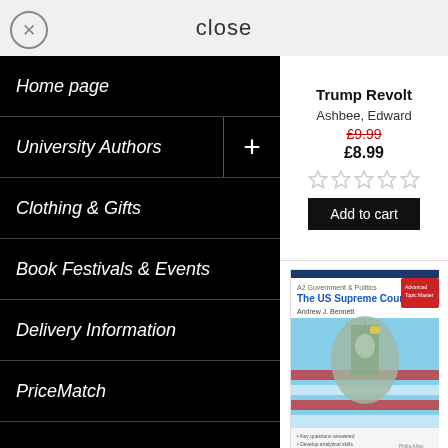close
Home page
University Authors
Clothing & Gifts
Book Festivals & Events
Delivery Information
PriceMatch
Trump Revolt
Ashbee, Edward
£9.99
£8.99
Add to cart
[Figure (illustration): Book cover for The US Supreme Court Advanced Topic Master showing Statue of Liberty with American flag background]
The US Supreme Court Advanced Topic Master